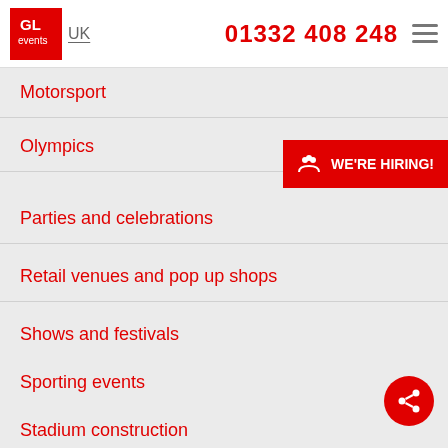GL events UK | 01332 408 248
Motorsport
Olympics
Parties and celebrations
Retail venues and pop up shops
Shows and festivals
Sporting events
Stadium construction
Temporary structures
Tennis